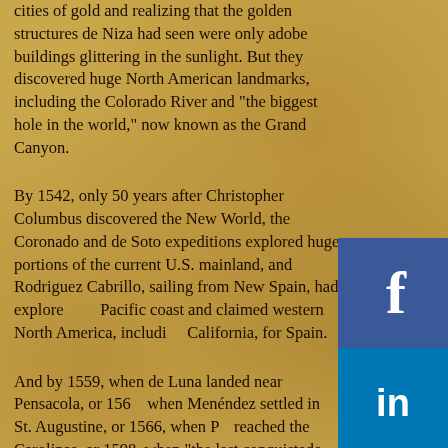cities of gold and realizing that the golden structures de Niza had seen were only adobe buildings glittering in the sunlight. But they discovered huge North American landmarks, including the Colorado River and "the biggest hole in the world," now known as the Grand Canyon.
By 1542, only 50 years after Christopher Columbus discovered the New World, the Coronado and de Soto expeditions explored huge portions of the current U.S. mainland, and Rodriguez Cabrillo, sailing from New Spain, had explored the Pacific coast and claimed western North America, including California, for Spain.
And by 1559, when de Luna landed near Pensacola, or 1565, when Menéndez settled in St. Augustine, or 1566, when P... reached the Carolinas, or 1598, when "the last conquistado" Juan de Oñate, led another huge expedition into New Mexico, the Spanish were no longer coming to explore North America. They were coming to stay.
It was all before the British arrived and settled in Jamestown, 1607, all part of that first American century, which started...
[Figure (infographic): Social media icons: Facebook (blue), LinkedIn (blue), YouTube (red), Twitter (cyan), Instagram (gradient pink/orange)]